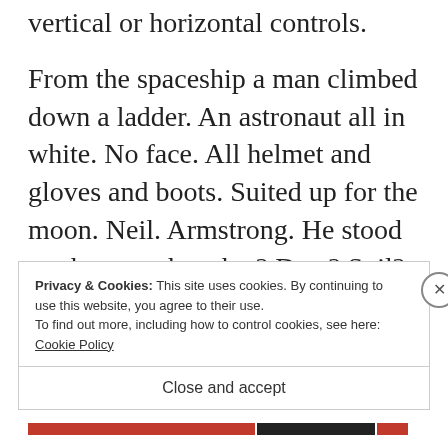vertical or horizontal controls.
From the spaceship a man climbed down a ladder. An astronaut all in white. No face. All helmet and gloves and boots. Suited up for the moon. Neil. Armstrong. He stood on the – on the what? Dust? Soil? Dirt? Cheese? His footsteps puffed up lunar particles.
Privacy & Cookies: This site uses cookies. By continuing to use this website, you agree to their use.
To find out more, including how to control cookies, see here: Cookie Policy
Close and accept